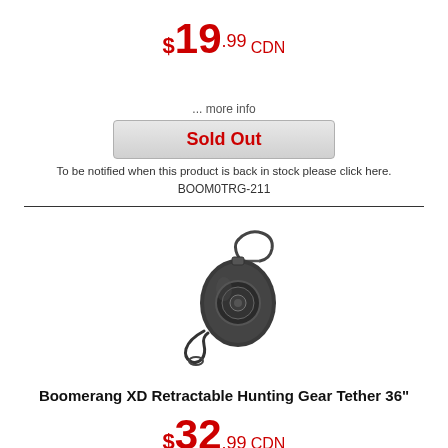$19.99 CDN
... more info
Sold Out
To be notified when this product is back in stock please click here.
BOOM0TRG-211
[Figure (photo): Boomerang XD retractable gear tether device with carabiner clip and strap, dark metallic color]
Boomerang XD Retractable Hunting Gear Tether 36"
$32.99 CDN